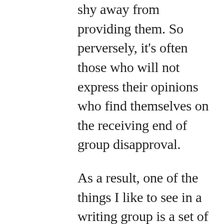shy away from providing them. So perversely, it's often those who will not express their opinions who find themselves on the receiving end of group disapproval.
As a result, one of the things I like to see in a writing group is a set of ground rules about commentary —